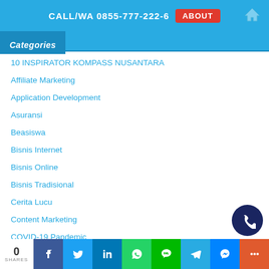CALL/WA 0855-777-222-6  ABOUT
Categories
10 INSPIRATOR KOMPASS NUSANTARA
Affiliate Marketing
Application Development
Asuransi
Beasiswa
Bisnis Internet
Bisnis Online
Bisnis Tradisional
Cerita Lucu
Content Marketing
COVID-19 Pandemic
0 SHARES  [Facebook] [Twitter] [LinkedIn] [WhatsApp] [Line] [Telegram] [Messenger] [More]